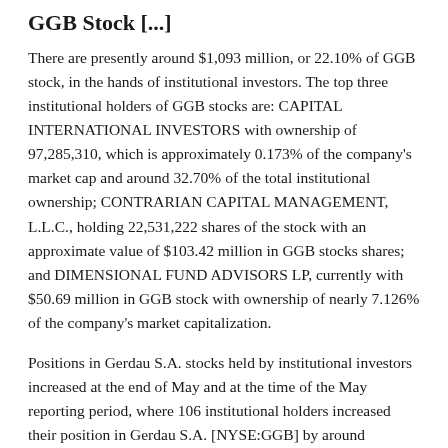GGB Stock [...]
There are presently around $1,093 million, or 22.10% of GGB stock, in the hands of institutional investors. The top three institutional holders of GGB stocks are: CAPITAL INTERNATIONAL INVESTORS with ownership of 97,285,310, which is approximately 0.173% of the company's market cap and around 32.70% of the total institutional ownership; CONTRARIAN CAPITAL MANAGEMENT, L.L.C., holding 22,531,222 shares of the stock with an approximate value of $103.42 million in GGB stocks shares; and DIMENSIONAL FUND ADVISORS LP, currently with $50.69 million in GGB stock with ownership of nearly 7.126% of the company's market capitalization.
Positions in Gerdau S.A. stocks held by institutional investors increased at the end of May and at the time of the May reporting period, where 106 institutional holders increased their position in Gerdau S.A. [NYSE:GGB] by around 26,605,235 shares. Additionally, 67 investors decreased positions by around 23,945,897 shares, while 25